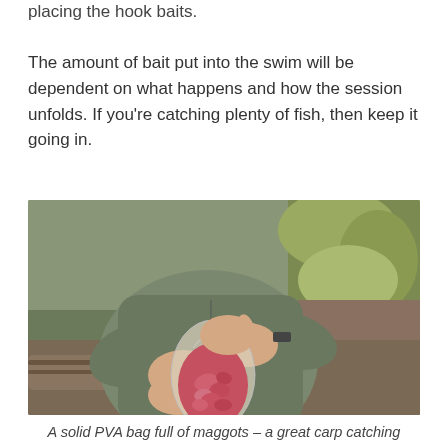placing the hook baits.
The amount of bait put into the swim will be dependent on what happens and how the session unfolds. If you're catching plenty of fish, then keep it going in.
[Figure (photo): A person wearing an olive/grey fleece jacket holding a clear PVA bag filled with red maggots, sitting outdoors near logs and foliage.]
A solid PVA bag full of maggots – a great carp catching